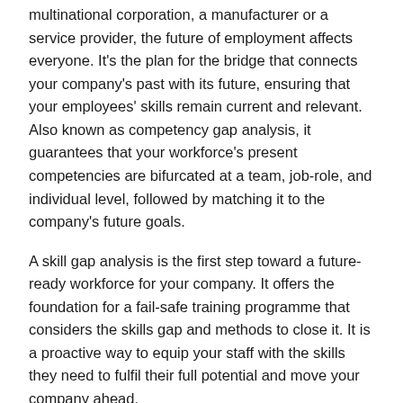multinational corporation, a manufacturer or a service provider, the future of employment affects everyone. It's the plan for the bridge that connects your company's past with its future, ensuring that your employees' skills remain current and relevant. Also known as competency gap analysis, it guarantees that your workforce's present competencies are bifurcated at a team, job-role, and individual level, followed by matching it to the company's future goals.
A skill gap analysis is the first step toward a future-ready workforce for your company. It offers the foundation for a fail-safe training programme that considers the skills gap and methods to close it. It is a proactive way to equip your staff with the skills they need to fulfil their full potential and move your company ahead.
Levels of Conducting Skill Gap Analysis